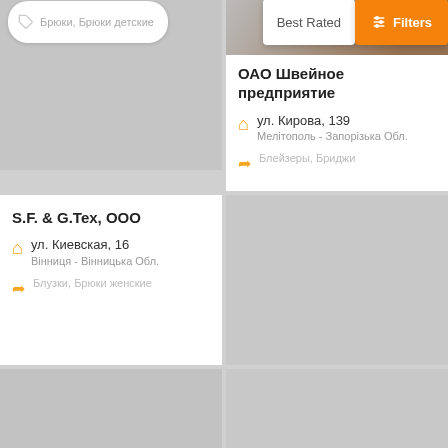Брюки, Брюки детские
Best Rated
Filters
ОАО Швейное предприятие
ул. Кирова, 139
Мелітополь - Запорізька Обл.
Блейзеры, Бриджи
S.F. & G.Tex, ООО
ул. Киевская, 16
Вінниця - Вінницька Обл.
Блузки, Брюки женские
MilaNova, ООО
Ул. Халтурина 1а
Харків - Харківська Обл.
Дубленки женские, Женское пальто
Никита Ниа (Nikita NIA), ЧП